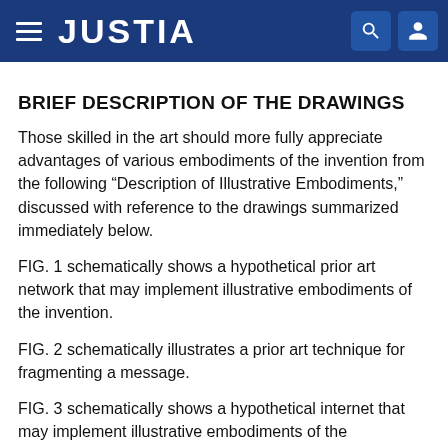JUSTIA
BRIEF DESCRIPTION OF THE DRAWINGS
Those skilled in the art should more fully appreciate advantages of various embodiments of the invention from the following “Description of Illustrative Embodiments,” discussed with reference to the drawings summarized immediately below.
FIG. 1 schematically shows a hypothetical prior art network that may implement illustrative embodiments of the invention.
FIG. 2 schematically illustrates a prior art technique for fragmenting a message.
FIG. 3 schematically shows a hypothetical internet that may implement illustrative embodiments of the invention.